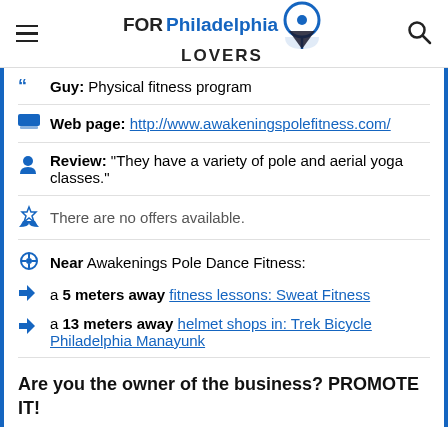FOR Philadelphia LOVERS
Guy: Physical fitness program
Web page: http://www.awakeningspolefitness.com/
Review: "They have a variety of pole and aerial yoga classes."
There are no offers available.
Near Awakenings Pole Dance Fitness:
a 5 meters away fitness lessons: Sweat Fitness
a 13 meters away helmet shops in: Trek Bicycle Philadelphia Manayunk
Are you the owner of the business? PROMOTE IT!